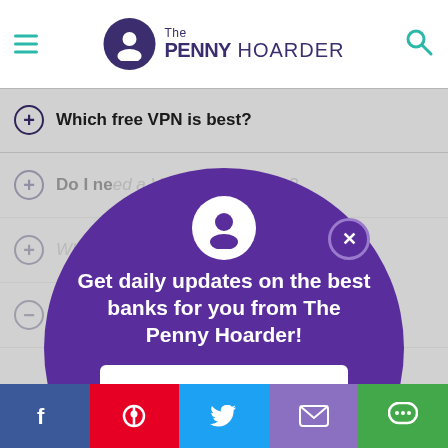The Penny Hoarder
Which free VPN is best?
Do I need a VPN on my phone?
What is a VPN for Netflix?
How do I use a VPN? [partially visible]
[Figure (screenshot): Popup modal overlay with purple circle background. Contains The Penny Hoarder avatar icon, close X button, headline text 'Get daily updates on the best banks for you from The Penny Hoarder!', email address input field, and SUBSCRIBE button.]
Get daily updates on the best banks for you from The Penny Hoarder!
Social share bar: Facebook, Pinterest, Twitter, Email, Chat